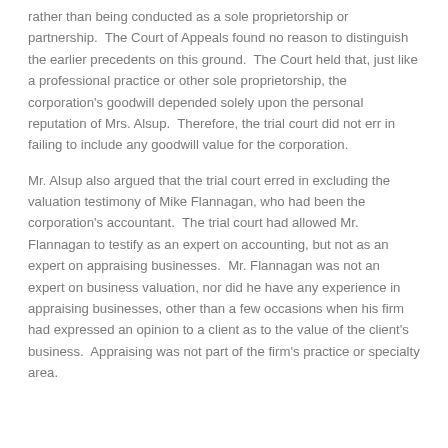rather than being conducted as a sole proprietorship or partnership.  The Court of Appeals found no reason to distinguish the earlier precedents on this ground.  The Court held that, just like a professional practice or other sole proprietorship, the corporation's goodwill depended solely upon the personal reputation of Mrs. Alsup.  Therefore, the trial court did not err in failing to include any goodwill value for the corporation.
Mr. Alsup also argued that the trial court erred in excluding the valuation testimony of Mike Flannagan, who had been the corporation's accountant.  The trial court had allowed Mr. Flannagan to testify as an expert on accounting, but not as an expert on appraising businesses.  Mr. Flannagan was not an expert on business valuation, nor did he have any experience in appraising businesses, other than a few occasions when his firm had expressed an opinion to a client as to the value of the client's business.  Appraising was not part of the firm's practice or specialty area.